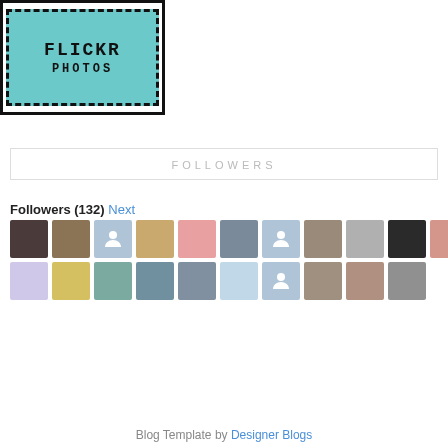[Figure (logo): Flickr Photos stamp logo with teal background and black border]
FOLLOWERS
Followers (132) Next
[Figure (photo): Grid of 21 follower avatar photos/thumbnails in two rows]
Follow
Blog Template by Designer Blogs